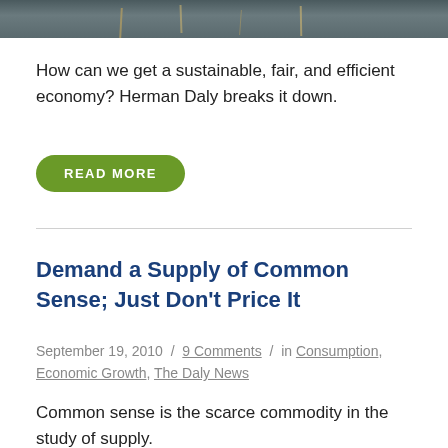[Figure (photo): Dark gray/green water or field background image strip at top of page with golden vertical streaks or reflections]
How can we get a sustainable, fair, and efficient economy? Herman Daly breaks it down.
READ MORE
Demand a Supply of Common Sense; Just Don't Price It
September 19, 2010 / 9 Comments / in Consumption, Economic Growth, The Daly News
Common sense is the scarce commodity in the study of supply.